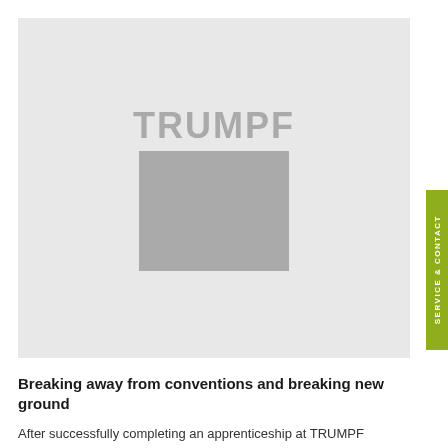[Figure (logo): TRUMPF company logo placeholder image — light grey background with TRUMPF text in grey above a grey rectangle square]
SERVICE & CONTACT
Breaking away from conventions and breaking new ground
After successfully completing an apprenticeship at TRUMPF